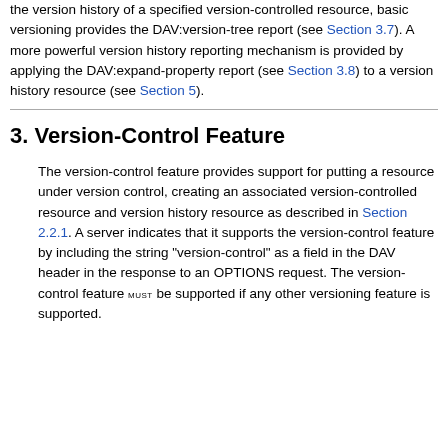the version history of a specified version-controlled resource, basic versioning provides the DAV:version-tree report (see Section 3.7). A more powerful version history reporting mechanism is provided by applying the DAV:expand-property report (see Section 3.8) to a version history resource (see Section 5).
3. Version-Control Feature
The version-control feature provides support for putting a resource under version control, creating an associated version-controlled resource and version history resource as described in Section 2.2.1. A server indicates that it supports the version-control feature by including the string "version-control" as a field in the DAV header in the response to an OPTIONS request. The version-control feature MUST be supported if any other versioning feature is supported.